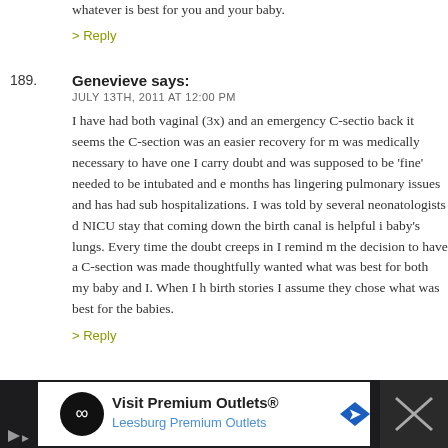whatever is best for you and your baby.
> Reply
189. Genevieve says:
JULY 13TH, 2011 AT 12:00 PM
I have had both vaginal (3x) and an emergency C-section back it seems the C-section was an easier recovery for m was medically necessary to have one I carry doubt and was supposed to be 'fine' needed to be intubated and e months has lingering pulmonary issues and has had sub hospitalizations. I was told by several neonatologists d NICU stay that coming down the birth canal is helpful i baby's lungs. Every time the doubt creeps in I remind m the decision to have a C-section was made thoughtfully wanted what was best for both my baby and I. When I h birth stories I assume they chose what was best for the babies.
> Reply
[Figure (infographic): Advertisement banner for Visit Premium Outlets - Leesburg Premium Outlets with logo, text, and directional arrow icon on dark background]